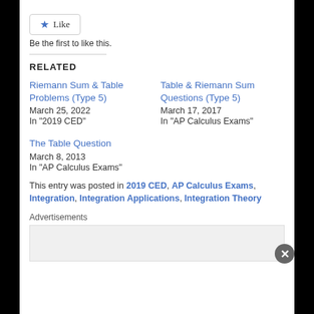[Figure (other): Like button with star icon]
Be the first to like this.
RELATED
Riemann Sum & Table Problems (Type 5)
March 25, 2022
In "2019 CED"
Table & Riemann Sum Questions (Type 5)
March 17, 2017
In "AP Calculus Exams"
The Table Question
March 8, 2013
In "AP Calculus Exams"
This entry was posted in 2019 CED, AP Calculus Exams, Integration, Integration Applications, Integration Theory
Advertisements